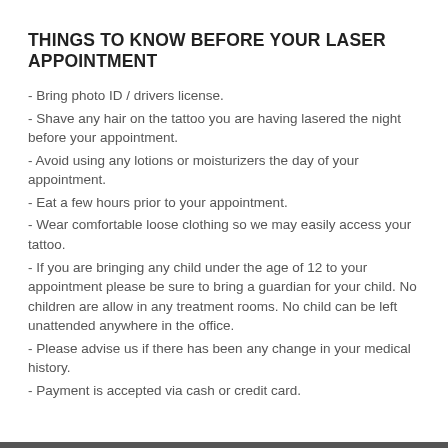THINGS TO KNOW BEFORE YOUR LASER APPOINTMENT
- Bring photo ID / drivers license.
- Shave any hair on the tattoo you are having lasered the night before your appointment.
- Avoid using any lotions or moisturizers the day of your appointment.
- Eat a few hours prior to your appointment.
- Wear comfortable loose clothing so we may easily access your tattoo.
- If you are bringing any child under the age of 12 to your appointment please be sure to bring a guardian for your child. No children are allow in any treatment rooms. No child can be left unattended anywhere in the office.
- Please advise us if there has been any change in your medical history.
- Payment is accepted via cash or credit card.